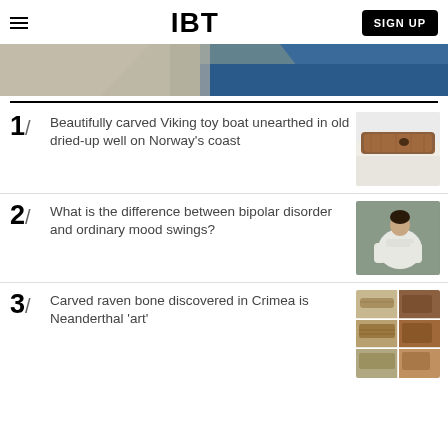IBT
[Figure (photo): Aerial coastal landscape image showing land and water]
1/ Beautifully carved Viking toy boat unearthed in old dried-up well on Norway's coast
2/ What is the difference between bipolar disorder and ordinary mood swings?
3/ Carved raven bone discovered in Crimea is Neanderthal 'art'